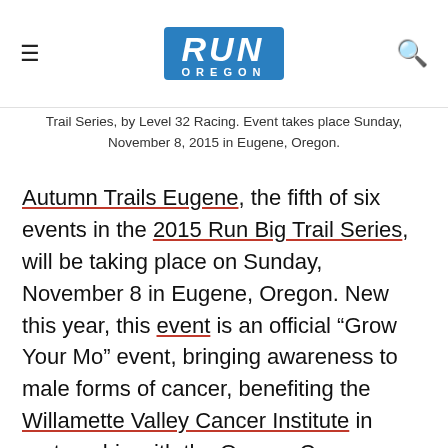Run Oregon logo header with hamburger menu and search icon
Trail Series, by Level 32 Racing. Event takes place Sunday, November 8, 2015 in Eugene, Oregon.
Autumn Trails Eugene, the fifth of six events in the 2015 Run Big Trail Series, will be taking place on Sunday, November 8 in Eugene, Oregon. New this year, this event is an official “Grow Your Mo” event, bringing awareness to male forms of cancer, benefiting the Willamette Valley Cancer Institute in partnership with the Oregon Cancer Foundation.